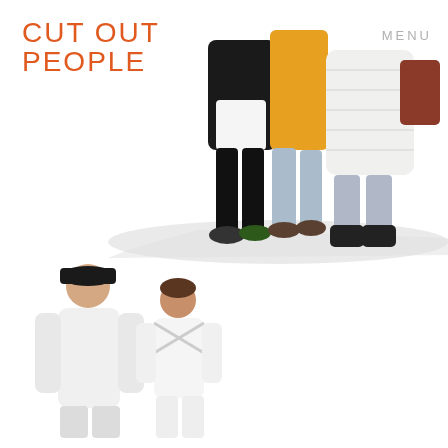CUT OUT PEOPLE
MENU
[Figure (photo): Three people walking together from the torso down — person in black jacket, person in yellow dress, person in light jeans carrying a brown bag — with long shadows on a white background]
[Figure (photo): Two people seen from behind standing on a white background — a taller person in a white hoodie and black cap, and a shorter person in a white top with a cross-back detail]